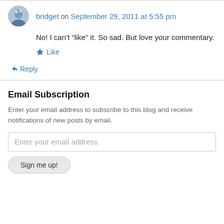bridget on September 29, 2011 at 5:55 pm
No! I can't “like” it. So sad. But love your commentary.
Like
Reply
Email Subscription
Enter your email address to subscribe to this blog and receive notifications of new posts by email.
Enter your email address
Sign me up!